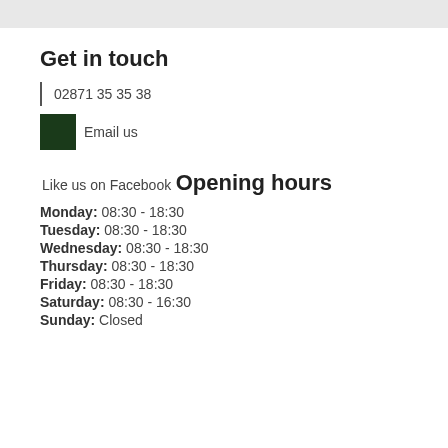Get in touch
02871 35 35 38
Email us
Like us on Facebook
Opening hours
Monday: 08:30 - 18:30
Tuesday: 08:30 - 18:30
Wednesday: 08:30 - 18:30
Thursday: 08:30 - 18:30
Friday: 08:30 - 18:30
Saturday: 08:30 - 16:30
Sunday: Closed